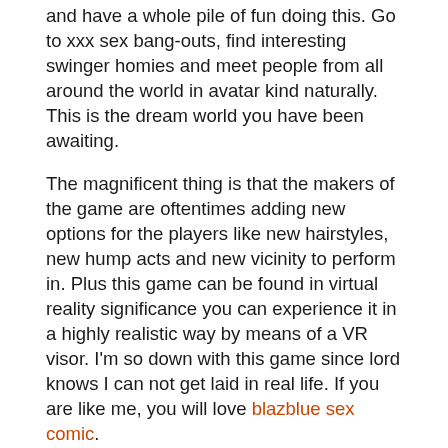and have a whole pile of fun doing this. Go to xxx sex bang-outs, find interesting swinger homies and meet people from all around the world in avatar kind naturally. This is the dream world you have been awaiting.
The magnificent thing is that the makers of the game are oftentimes adding new options for the players like new hairstyles, new hump acts and new vicinity to perform in. Plus this game can be found in virtual reality significance you can experience it in a highly realistic way by means of a VR visor. I'm so down with this game since lord knows I can not get laid in real life. If you are like me, you will love blazblue sex comic.